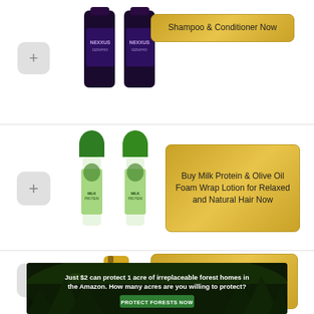[Figure (photo): Two Nexxus hair care bottles (shampoo and conditioner) with dark purple/black labels, partially visible at top of page]
Shampoo & Conditioner Now
[Figure (photo): Two Milk Protein & Olive Oil Foam Wrap Lotion bottles with green caps and green/white labels with avocado imagery]
Buy Milk Protein & Olive Oil Foam Wrap Lotion for Relaxed and Natural Hair Now
[Figure (photo): L'Oreal Paris Elvive Total Repair 5 Protein Recharge Leave In Conditioner Treatment tube, gold/yellow color]
Buy L'Oreal Paris Elvive Total Repair 5 Protein Recharge Leave In Conditioner Treatment, and Heat Protectant Now
[Figure (photo): Amazon forest conservation banner: dark forest background with text 'Just $2 can protect 1 acre of irreplaceable forest homes in the Amazon. How many acres are you willing to protect?' with green 'PROTECT FORESTS NOW' button]